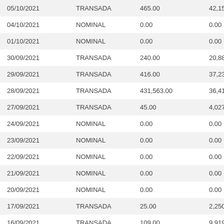| 05/10/2021 | TRANSADA | 465.00 | 42,155.00 |
| 04/10/2021 | NOMINAL | 0.00 | 0.00 |
| 01/10/2021 | NOMINAL | 0.00 | 0.00 |
| 30/09/2021 | TRANSADA | 240.00 | 20,880.00 |
| 29/09/2021 | TRANSADA | 416.00 | 37,232.00 |
| 28/09/2021 | TRANSADA | 431,563.00 | 36,419,066.7 |
| 27/09/2021 | TRANSADA | 45.00 | 4,027.50 |
| 24/09/2021 | NOMINAL | 0.00 | 0.00 |
| 23/09/2021 | NOMINAL | 0.00 | 0.00 |
| 22/09/2021 | NOMINAL | 0.00 | 0.00 |
| 21/09/2021 | NOMINAL | 0.00 | 0.00 |
| 20/09/2021 | NOMINAL | 0.00 | 0.00 |
| 17/09/2021 | TRANSADA | 25.00 | 2,250.00 |
| 16/09/2021 | TRANSADA | 109.00 | 9,919.00 |
| 15/09/2021 | TRANSADA | 277.00 | 25,207.00 |
| 14/09/2021 | TRANSADA | 220.00 | 20,047.50 |